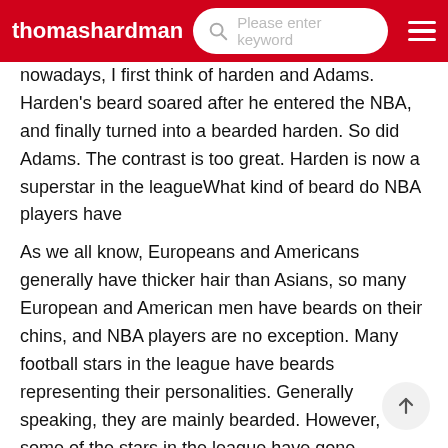thomashardman | Please enter keyword
nowadays, I first think of harden and Adams. Harden's beard soared after he entered the NBA, and finally turned into a bearded harden. So did Adams. The contrast is too great. Harden is now a superstar in the leagueWhat kind of beard do NBA players have
As we all know, Europeans and Americans generally have thicker hair than Asians, so many European and American men have beards on their chins, and NBA players are no exception. Many football stars in the league have beards representing their personalities. Generally speaking, they are mainly bearded. However, some of the stars in the league have gone wrongShaved NBA players are more attractive, but why do they still like to grow a beard
Twenty years ago, the NBA was popular with loose short sleeves and loose jeans, wearing a big gold chain symbolizing wealth and status, and wearing a headscarf